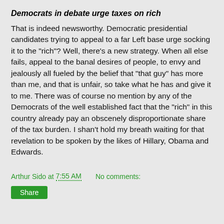Democrats in debate urge taxes on rich
That is indeed newsworthy. Democratic presidential candidates trying to appeal to a far Left base urge socking it to the "rich"? Well, there's a new strategy. When all else fails, appeal to the banal desires of people, to envy and jealously all fueled by the belief that "that guy" has more than me, and that is unfair, so take what he has and give it to me. There was of course no mention by any of the Democrats of the well established fact that the "rich" in this country already pay an obscenely disproportionate share of the tax burden. I shan't hold my breath waiting for that revelation to be spoken by the likes of Hillary, Obama and Edwards.
Arthur Sido at 7:55 AM    No comments: